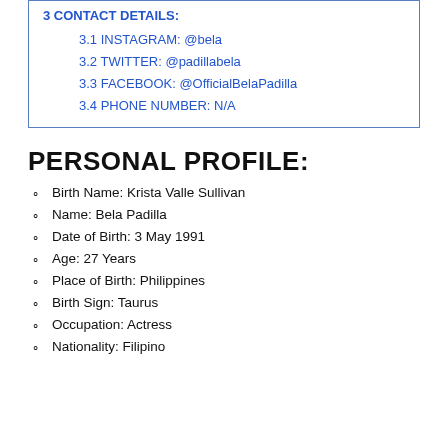3 CONTACT DETAILS:
3.1 INSTAGRAM: @bela
3.2 TWITTER: @padillabela
3.3 FACEBOOK: @OfficialBelaPadilla
3.4 PHONE NUMBER: N/A
PERSONAL PROFILE:
Birth Name:  Krista Valle Sullivan
Name: Bela Padilla
Date of Birth: 3 May 1991
Age: 27 Years
Place of Birth: Philippines
Birth Sign: Taurus
Occupation: Actress
Nationality: Filipino